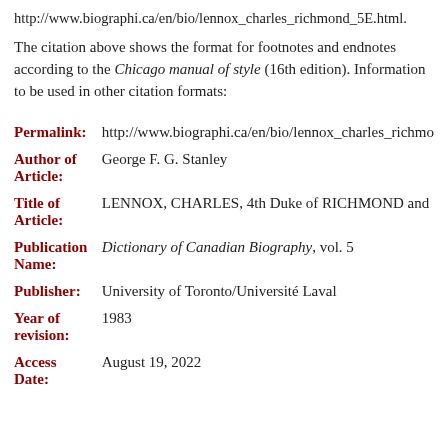http://www.biographi.ca/en/bio/lennox_charles_richmond_5E.html.
The citation above shows the format for footnotes and endnotes according to the Chicago manual of style (16th edition). Information to be used in other citation formats:
| Field | Value |
| --- | --- |
| Permalink: | http://www.biographi.ca/en/bio/lennox_charles_richmo |
| Author of Article: | George F. G. Stanley |
| Title of Article: | LENNOX, CHARLES, 4th Duke of RICHMOND and |
| Publication Name: | Dictionary of Canadian Biography, vol. 5 |
| Publisher: | University of Toronto/Université Laval |
| Year of revision: | 1983 |
| Access Date: | August 19, 2022 |